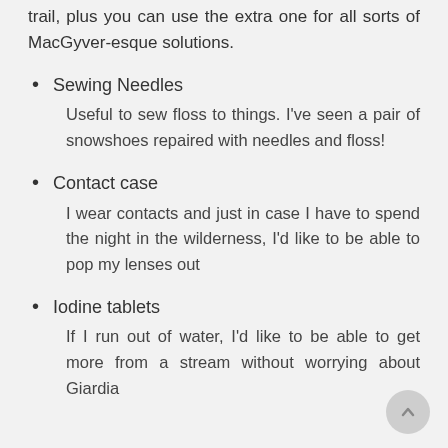trail, plus you can use the extra one for all sorts of MacGyver-esque solutions.
Sewing Needles
Useful to sew floss to things. I've seen a pair of snowshoes repaired with needles and floss!
Contact case
I wear contacts and just in case I have to spend the night in the wilderness, I'd like to be able to pop my lenses out
Iodine tablets
If I run out of water, I'd like to be able to get more from a stream without worrying about Giardia